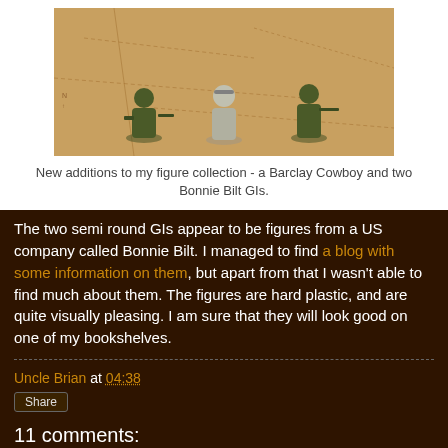[Figure (photo): Photo of toy soldier figures (a Barclay Cowboy and two Bonnie Bilt GIs) placed on a map background]
New additions to my figure collection - a Barclay Cowboy and two Bonnie Bilt GIs.
The two semi round GIs appear to be figures from a US company called Bonnie Bilt. I managed to find a blog with some information on them, but apart from that I wasn't able to find much about them. The figures are hard plastic, and are quite visually pleasing. I am sure that they will look good on one of my bookshelves.
Uncle Brian at 04:38
Share
11 comments:
Rodger 5 January 2013 at 09:26